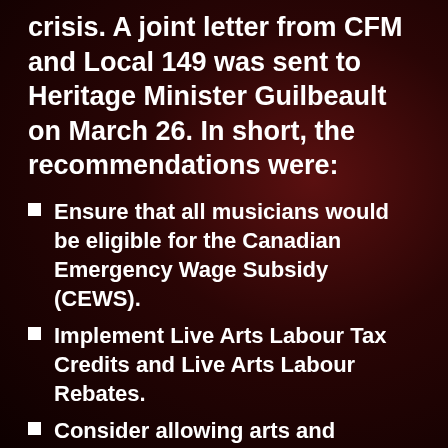crisis. A joint letter from CFM and Local 149 was sent to Heritage Minister Guilbeault on March 26. In short, the recommendations were:
Ensure that all musicians would be eligible for the Canadian Emergency Wage Subsidy (CEWS).
Implement Live Arts Labour Tax Credits and Live Arts Labour Rebates.
Consider allowing arts and cultural industry companies, including small, medium, and large for-profit, not-for-profit, and charitable companies, to have access to the Business Development Bank's working capital loans and that these loans are fully forgivable